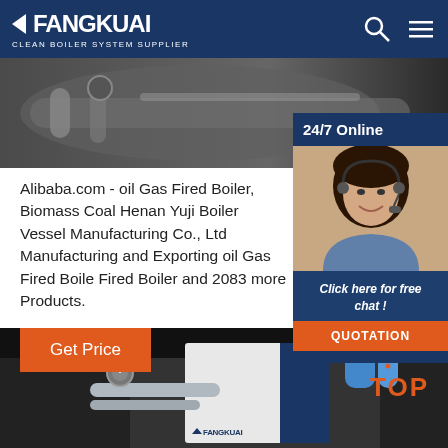FANGKUAI - Clean Boiler System Supplier
[Figure (photo): Industrial boiler equipment close-up photograph, dark metallic machinery]
Alibaba.com - oil Gas Fired Boiler, Biomass Coal Henan Yuji Boiler Vessel Manufacturing Co., Ltd Manufacturing and Exporting oil Gas Fired Boiler, Fired Boiler and 2083 more Products.
[Figure (photo): 24/7 Online customer service representative, woman with headset smiling, with Click here for free chat and QUOTATION button panel]
Get Price
[Figure (photo): Industrial boiler system with pipes, gauges, white and blue cabinet with FANGKUAI logo, TOP badge overlay]